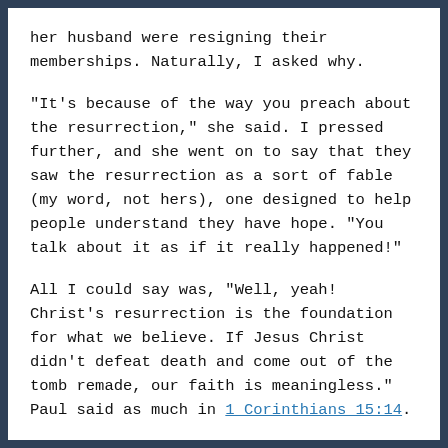her husband were resigning their memberships. Naturally, I asked why.
"It's because of the way you preach about the resurrection," she said. I pressed further, and she went on to say that they saw the resurrection as a sort of fable (my word, not hers), one designed to help people understand they have hope. "You talk about it as if it really happened!"
All I could say was, "Well, yeah! Christ's resurrection is the foundation for what we believe. If Jesus Christ didn't defeat death and come out of the tomb remade, our faith is meaningless." Paul said as much in 1 Corinthians 15:14.